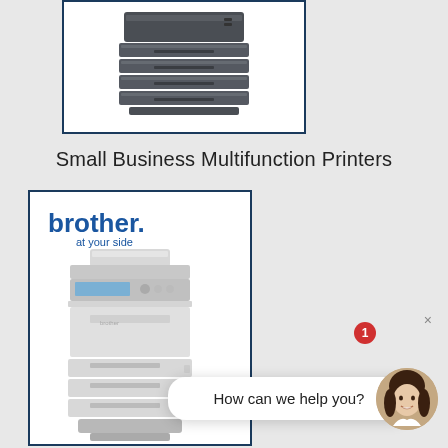[Figure (photo): Top portion of a dark gray office printer/copier with multiple paper trays, shown in a white box with dark blue border]
Small Business Multifunction Printers
[Figure (photo): Brother brand multifunction printer with multiple paper trays on a stand, showing the Brother 'at your side' logo, in a white box with dark blue border]
How can we help you?